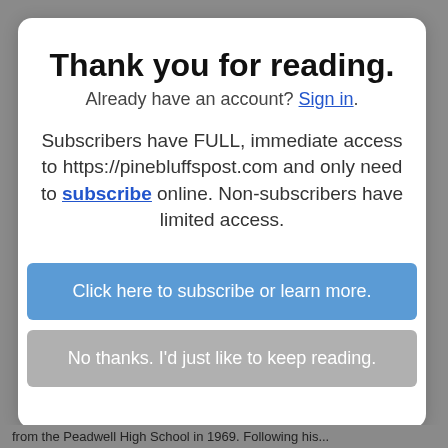Thank you for reading.
Already have an account? Sign in.
Subscribers have FULL, immediate access to https://pinebluffspost.com and only need to subscribe online. Non-subscribers have limited access.
Click here to subscribe or learn more.
No thanks. I'd just like to keep reading.
from the Peadwell High School in 1969. Following his...